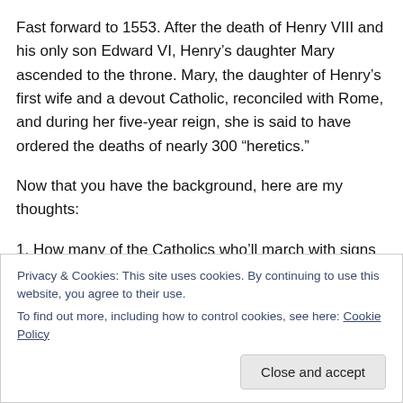Fast forward to 1553. After the death of Henry VIII and his only son Edward VI, Henry's daughter Mary ascended to the throne. Mary, the daughter of Henry's first wife and a devout Catholic, reconciled with Rome, and during her five-year reign, she is said to have ordered the deaths of nearly 300 “heretics.”
Now that you have the background, here are my thoughts:
1. How many of the Catholics who’ll march with signs over the next two weeks would willing walk up a short flight of
Privacy & Cookies: This site uses cookies. By continuing to use this website, you agree to their use.
To find out more, including how to control cookies, see here: Cookie Policy